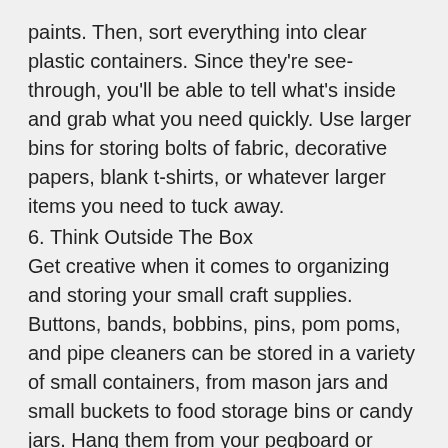paints. Then, sort everything into clear plastic containers. Since they're see-through, you'll be able to tell what's inside and grab what you need quickly. Use larger bins for storing bolts of fabric, decorative papers, blank t-shirts, or whatever larger items you need to tuck away.
6. Think Outside The Box
Get creative when it comes to organizing and storing your small craft supplies. Buttons, bands, bobbins, pins, pom poms, and pipe cleaners can be stored in a variety of small containers, from mason jars and small buckets to food storage bins or candy jars. Hang them from your pegboard or stack them on a shelf. Use chalkboard labels so you can easily erase and change the contents if you need to.
7. Everything In Its Place
One of the fundamental rules of room organization: keep your crafting space clutter-free by giving everything its designated place. It's much easier to stay organized and find your supplies if you always put them away something